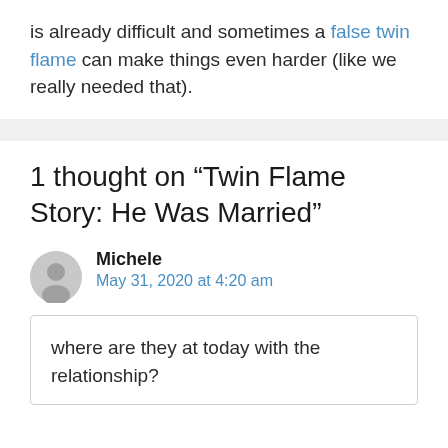is already difficult and sometimes a false twin flame can make things even harder (like we really needed that).
1 thought on “Twin Flame Story: He Was Married”
Michele
May 31, 2020 at 4:20 am
where are they at today with the relationship?